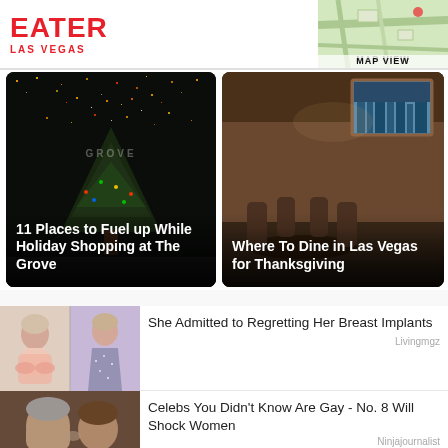EATER LAS VEGAS
[Figure (screenshot): Map view thumbnail in top right corner]
[Figure (photo): Holiday tree with lights at The Grove, dark background with sparkle effect]
11 Places to Fuel up While Holiday Shopping at The Grove
[Figure (photo): Restaurant interior with warm lighting and city view through window]
Where To Dine in Las Vegas for Thanksgiving
[Figure (photo): Two women photos side by side - woman meditating and woman in sparkly dress]
She Admitted to Regretting Her Breast Implants
Livingmgz
[Figure (photo): Two men kissing close-up]
Celebs You Didn't Know Are Gay - No. 8 Will Shock Women
Ninjajournalist
[Figure (photo): Tall woman in black dress standing in a room]
She Is One Of The Largest Athletes In The World - And She Is Truly Massive
Thedaddest